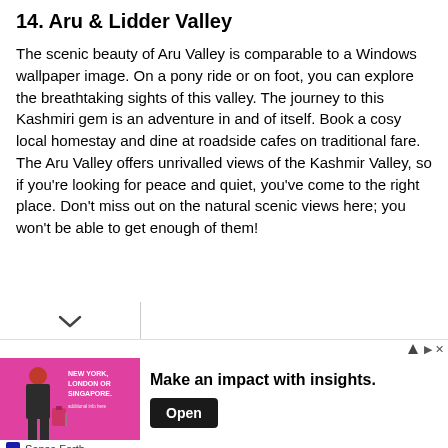14.  Aru & Lidder Valley
The scenic beauty of Aru Valley is comparable to a Windows wallpaper image. On a pony ride or on foot, you can explore the breathtaking sights of this valley. The journey to this Kashmiri gem is an adventure in and of itself. Book a cosy local homestay and dine at roadside cafes on traditional fare. The Aru Valley offers unrivalled views of the Kashmir Valley, so if you're looking for peace and quiet, you've come to the right place. Don't miss out on the natural scenic views here; you won't be able to get enough of them!
[Figure (infographic): Advertisement banner: Image of a man in a suit with luggage, text 'NEW YORK, LONDON OR SINGAPORE.' on pink background. Ad headline reads 'Make an impact with insights.' with an 'Open' button. Footer shows 'Sense Forth' branding.]